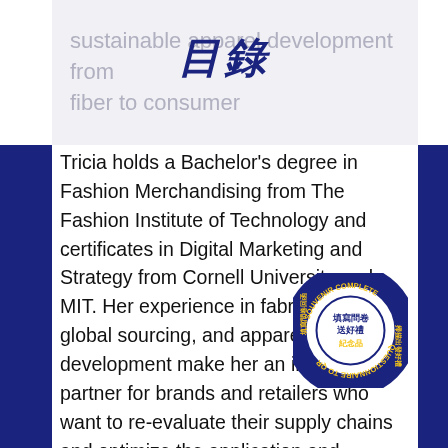sustainable apparel development from fiber to consumer
目錄
Tricia holds a Bachelor's degree in Fashion Merchandising from The Fashion Institute of Technology and certificates in Digital Marketing and Strategy from Cornell University and MIT. Her experience in fabric sales, global sourcing, and apparel business development make her an invaluable partner for brands and retailers who want to re-evaluate their supply chains and optimize the application and benefits of Lenzing's botanic fibers.
Tricia also serves as Secretary of the Accelerating Circularity Project, is a member of the FIT Textile Department Advisory Board and was Vice Chair at